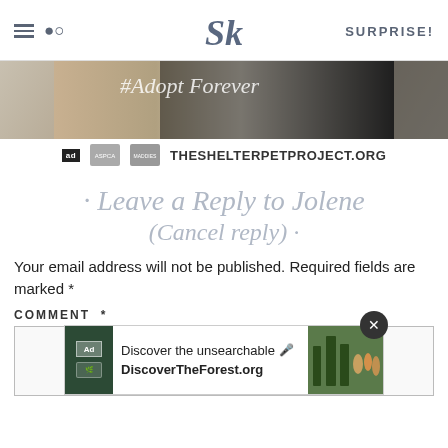SK  SURPRISE!
[Figure (photo): Advertisement banner showing cats with text '#Adopt' overlaid, for theshelterpetproject.org]
THESHELTERPETPROJECT.ORG
· Leave a Reply to Jolene (Cancel reply) ·
Your email address will not be published. Required fields are marked *
COMMENT *
[Figure (screenshot): Advertisement banner for DiscoverTheForest.org with text 'Discover the unsearchable' and a photo of people in a forest]